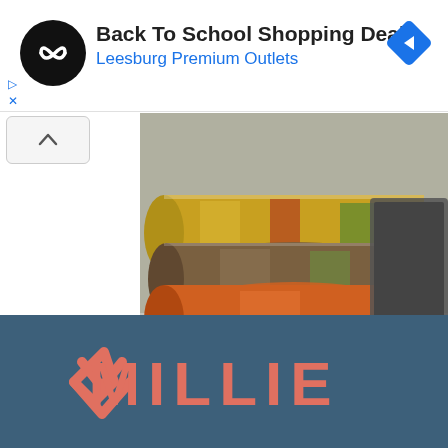[Figure (screenshot): Advertisement banner: Back To School Shopping Deals at Leesburg Premium Outlets with circular black logo and blue diamond arrow icon]
[Figure (photo): Food advertisement showing wrapped food rolls/logs in a tray with a green GET STARTED button]
[Figure (logo): Millie brand logo on dark blue background with salmon/orange M-shield icon and MILLIE text]